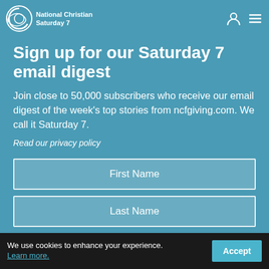National Christian Saturday 7
Sign up for our Saturday 7 email digest
Join close to 50,000 subscribers who receive our email digest of the week's top stories from ncfgiving.com. We call it Saturday 7.
Read our privacy policy
First Name
Last Name
Email Address
We use cookies to enhance your experience. Learn more.  Accept